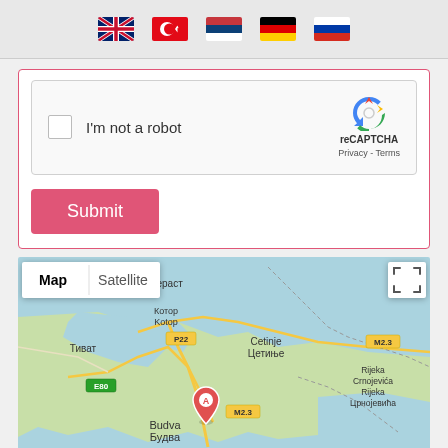[Figure (screenshot): Language selection flags: UK, Turkey, Serbia, Germany, Russia]
[Figure (screenshot): reCAPTCHA widget with checkbox 'I'm not a robot' and reCAPTCHA logo]
[Figure (screenshot): Submit button in pink/red color]
[Figure (map): Google Map showing Budva/Будва region in Montenegro with satellite/map toggle, marker at Budva, showing locations: Пераст, Тиват, Котор/Kotor, P22, E80, Cetinje/Цетиње, M2.3, Rijeka Crnojevića/Rijeka Црнојевића, Budva/Будва, Sveti Stefan/Свети Стефан, Virpazar]